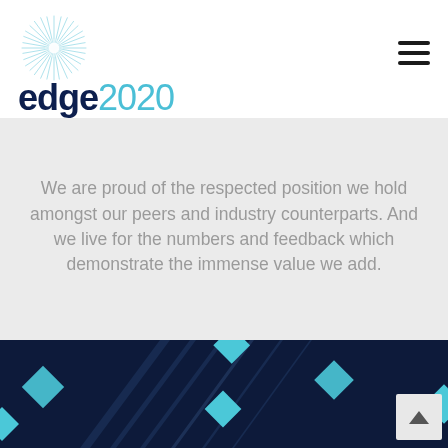[Figure (logo): edge2020 logo with circular burst/starburst icon above the wordmark]
We are proud of the respected position we hold amongst our peers and industry counterparts. And we live for the numbers and feedback which demonstrate the immense value we add.
[Figure (illustration): Dark navy blue background with cyan/teal diamond shapes and diagonal light beam streaks, decorative graphic]